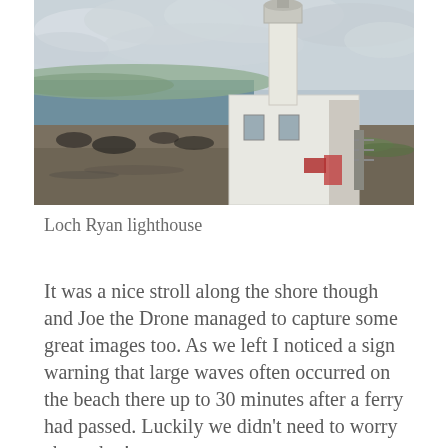[Figure (photo): Photograph of the Loch Ryan lighthouse — a white rectangular building with a white cylindrical tower rising from it, set on a rocky shoreline with water and hills visible in the background under a cloudy sky.]
Loch Ryan lighthouse
It was a nice stroll along the shore though and Joe the Drone managed to capture some great images too. As we left I noticed a sign warning that large waves often occurred on the beach there up to 30 minutes after a ferry had passed. Luckily we didn't need to worry about that!